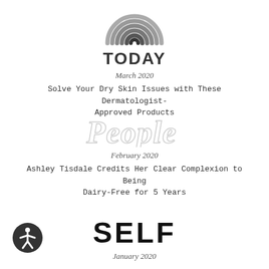[Figure (logo): TODAY show logo with rainbow arc above bold TODAY text]
March 2020
Solve Your Dry Skin Issues with These Dermatologist-Approved Products
[Figure (logo): People magazine logo in light gray serif script]
February 2020
Ashley Tisdale Credits Her Clear Complexion to Being Dairy-Free for 5 Years
[Figure (logo): Accessibility icon: person in circle]
[Figure (logo): SELF magazine logo in bold black sans-serif]
January 2020